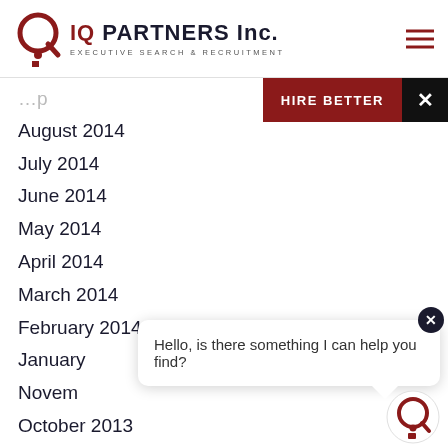[Figure (logo): IQ Partners Inc. logo with circular Q icon in dark red and text 'IQ PARTNERS Inc.' with subtitle 'EXECUTIVE SEARCH & RECRUITMENT']
August 2014
July 2014
June 2014
May 2014
April 2014
March 2014
February 2014
January
November
October 2013
September 2013
August 2013
Hello, is there something I can help you find?